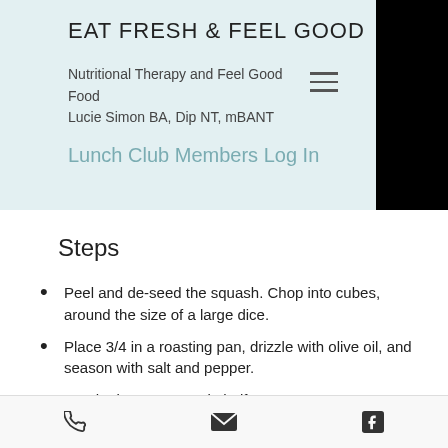EAT FRESH & FEEL GOOD
Nutritional Therapy and Feel Good Food
Lucie Simon BA, Dip NT, mBANT
Lunch Club Members Log In
Steps
Peel and de-seed the squash. Chop into cubes, around the size of a large dice.
Place 3/4 in a roasting pan, drizzle with olive oil, and season with salt and pepper.
Cut the long peppers in half
Phone | Email | Facebook